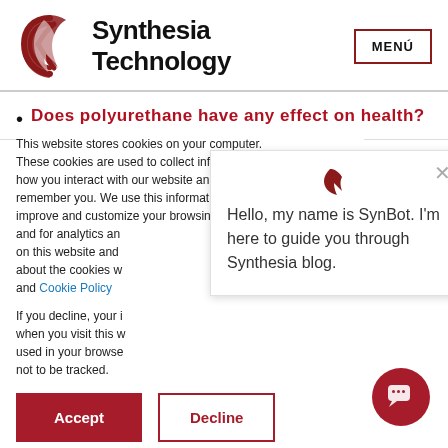[Figure (logo): Synthesia Technology logo with stylized K/S symbol in dark red and company name in black bold text]
Does polyurethane have any effect on health?
This website stores cookies on your computer. These cookies are used to collect information about how you interact with our website and allow us to remember you. We use this information in order to improve and customize your browsing experience and for analytics and... on this website and... about the cookies w... and Cookie Policy
If you decline, your i... when you visit this w... used in your browse... not to be tracked.
Hello, my name is SynBot. I'm here to guide you through Synthesia blog.